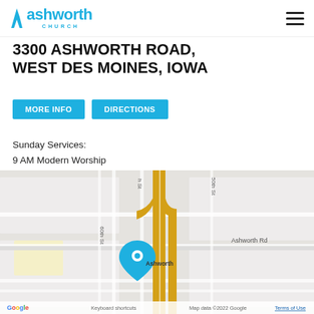Ashworth Church
3300 ASHWORTH ROAD, WEST DES MOINES, IOWA
MORE INFO   DIRECTIONS
Sunday Services:
9 AM Modern Worship
10:15 AM Classic Worship
515-223-0914    info@ashworth.church
[Figure (map): Google Maps screenshot showing the location of Ashworth Church at 3300 Ashworth Road, West Des Moines, Iowa. A blue map pin marks the location labeled 'Ashworth'. The map shows nearby streets including 60th St, 50th St, and Ashworth Rd, with a highway interchange visible.]